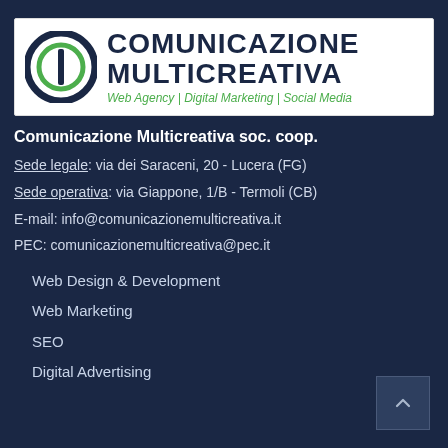[Figure (logo): Comunicazione Multicreativa logo with circular icon (dark blue/green rings with vertical bar) and text 'COMUNICAZIONE MULTICREATIVA' in dark blue, subtitle 'Web Agency | Digital Marketing | Social Media' in green italic]
Comunicazione Multicreativa soc. coop.
Sede legale: via dei Saraceni, 20 - Lucera (FG)
Sede operativa: via Giappone, 1/B - Termoli (CB)
E-mail: info@comunicazionemulticreativa.it
PEC: comunicazionemulticreativa@pec.it
Web Design & Development
Web Marketing
SEO
Digital Advertising